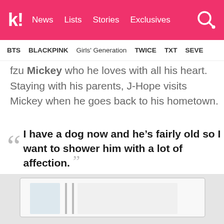k! News Lists Stories Exclusives
BTS BLACKPINK Girls' Generation TWICE TXT SEVE
fzu Mickey who he loves with all his heart. Staying with his parents, J-Hope visits Mickey when he goes back to his hometown.
I have a dog now and he’s fairly old so I want to shower him with a lot of affection. — J-Hope
[Figure (photo): Partial photo of a bright room with white surfaces visible at the bottom of the page]